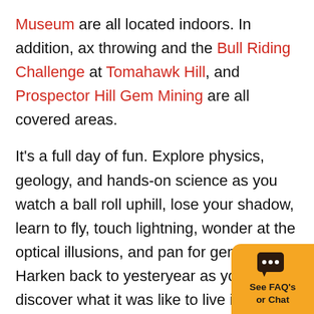Museum are all located indoors. In addition, ax throwing and the Bull Riding Challenge at Tomahawk Hill, and Prospector Hill Gem Mining are all covered areas.

It's a full day of fun. Explore physics, geology, and hands-on science as you watch a ball roll uphill, lose your shadow, learn to fly, touch lightning, wonder at the optical illusions, and pan for gems. Harken back to yesteryear as you discover what it was like to live in a turn-of-the-century Appalachian home, and go back in time even further to explore Native American artifacts in one of the largest private collections in the United States. Then treat yourself to pure fun. Encase your friends in a giant bubble, try
[Figure (other): Orange chat button with speech bubble icon and label 'See FAQ's or Chat']